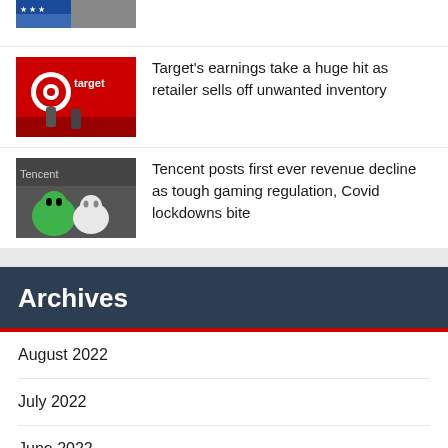[Figure (photo): Partial news thumbnail visible at top of page - cropped image showing stars/flag motif with person]
[Figure (photo): Target store exterior with red Target logo and people walking]
Target's earnings take a huge hit as retailer sells off unwanted inventory
[Figure (photo): Tencent logo with green WeChat mascot characters]
Tencent posts first ever revenue decline as tough gaming regulation, Covid lockdowns bite
Archives
August 2022
July 2022
June 2022
May 2022